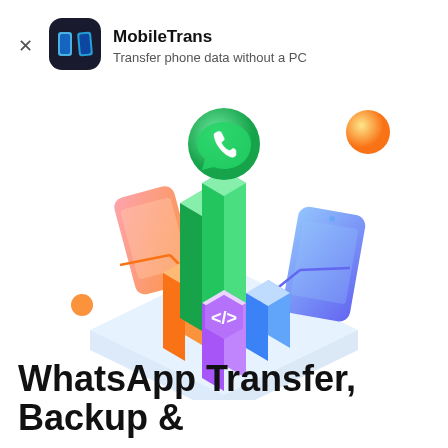[Figure (logo): MobileTrans app icon — dark rounded square with two overlapping blue/teal phone shapes]
MobileTrans
Transfer phone data without a PC
[Figure (illustration): Isometric 3D illustration showing data transfer between phones (orange phone on left, blue phone on right) connected by orange and blue lines to a central purple hub with code icon, with green tall pillars, pink/purple pillar, a floating green WhatsApp-style phone icon above, and an orange sphere floating top right, on a light blue isometric platform]
WhatsApp Transfer, Backup &